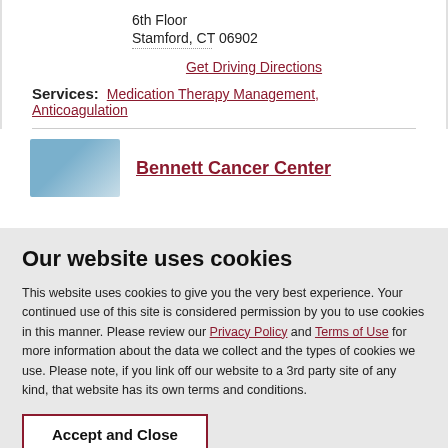6th Floor
Stamford, CT 06902
Get Driving Directions
Services: Medication Therapy Management, Anticoagulation
Bennett Cancer Center
Our website uses cookies
This website uses cookies to give you the very best experience. Your continued use of this site is considered permission by you to use cookies in this manner. Please review our Privacy Policy and Terms of Use for more information about the data we collect and the types of cookies we use. Please note, if you link off our website to a 3rd party site of any kind, that website has its own terms and conditions.
Accept and Close